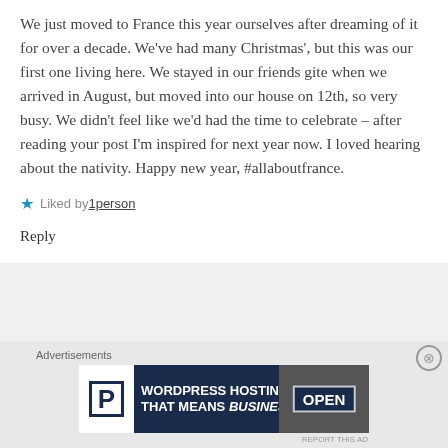We just moved to France this year ourselves after dreaming of it for over a decade. We've had many Christmas', but this was our first one living here. We stayed in our friends gite when we arrived in August, but moved into our house on 12th, so very busy. We didn't feel like we'd had the time to celebrate – after reading your post I'm inspired for next year now. I loved hearing about the nativity. Happy new year, #allaboutfrance.
★ Liked by 1person
Reply
Advertisements
[Figure (screenshot): WordPress Hosting advertisement banner with P logo and OPEN sign image]